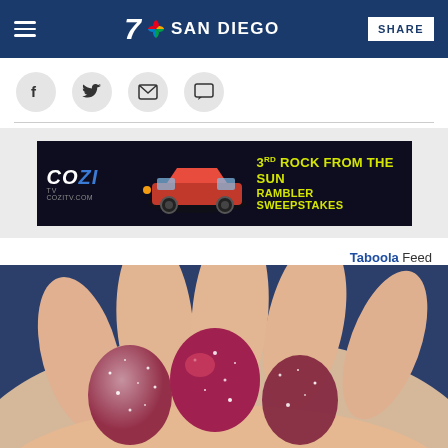7 NBC SAN DIEGO | SHARE
[Figure (logo): Social sharing icons: Facebook, Twitter, Email, Comment]
[Figure (infographic): COZI TV advertisement banner: '3rd Rock from the Sun Rambler Sweepstakes' at cozitv.com, dark background with red classic car]
Tab99la Feed
[Figure (photo): Close-up photo of sugar-coated red gummy candies held in a hand against a dark blue background]